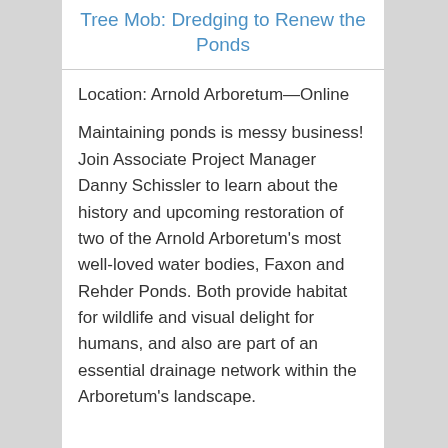Tree Mob: Dredging to Renew the Ponds
Location: Arnold Arboretum—Online
Maintaining ponds is messy business! Join Associate Project Manager Danny Schissler to learn about the history and upcoming restoration of two of the Arnold Arboretum's most well-loved water bodies, Faxon and Rehder Ponds. Both provide habitat for wildlife and visual delight for humans, and also are part of an essential drainage network within the Arboretum's landscape.